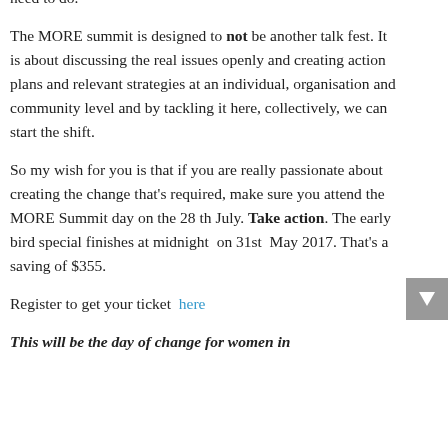where you are at on the leadership spectrum and what you need to do.
The MORE summit is designed to not be another talk fest. It is about discussing the real issues openly and creating action plans and relevant strategies at an individual, organisation and community level and by tackling it here, collectively, we can start the shift.
So my wish for you is that if you are really passionate about creating the change that's required, make sure you attend the MORE Summit day on the 28 th July. Take action. The early bird special finishes at midnight on 31st May 2017. That's a saving of $355.
Register to get your ticket here
This will be the day of change for women in